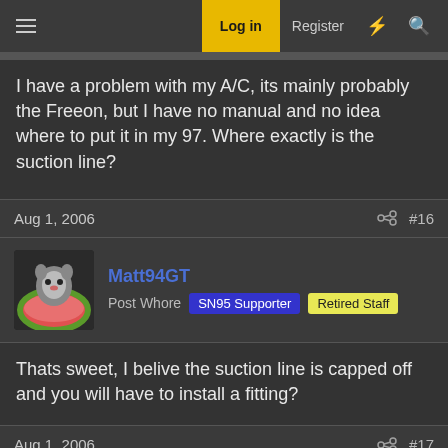Log in | Register
I have a problem with my A/C, its mainly probably the Freeon, but I have no manual and no idea where to put it in my 97. Where exactly is the suction line?
Aug 1, 2006   #16
Matt94GT
Post Whore  SN95 Supporter  Retired Staff
Thats sweet, I belive the suction line is capped off and you will have to install a fitting?
Aug 1, 2006   #17
B0mb3r645